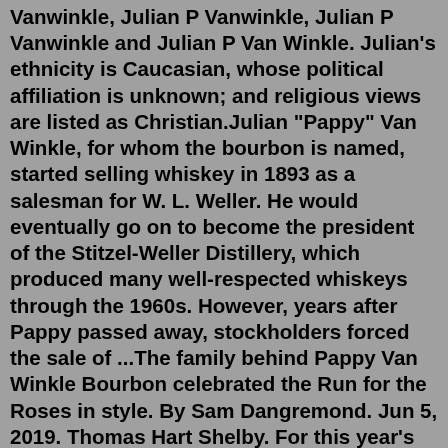Vanwinkle, Julian P Vanwinkle, Julian P Vanwinkle and Julian P Van Winkle. Julian's ethnicity is Caucasian, whose political affiliation is unknown; and religious views are listed as Christian.Julian "Pappy" Van Winkle, for whom the bourbon is named, started selling whiskey in 1893 as a salesman for W. L. Weller. He would eventually go on to become the president of the Stitzel-Weller Distillery, which produced many well-respected whiskeys through the 1960s. However, years after Pappy passed away, stockholders forced the sale of ...The family behind Pappy Van Winkle Bourbon celebrated the Run for the Roses in style. By Sam Dangremond. Jun 5, 2019. Thomas Hart Shelby. For this year's Kentucky Derby, the most coveted ticket ...The original ownership was shared between Alex T. Farnsley, Arthur Philip Stitzel and Julian Van Winkle. The former passed-away in 1941 and 1947, respectively, leaving the Van Winkle family as the sole heirs to the business. 'Pappy' died in 1965, having handed the reigns to his son, Julian II the year prior,